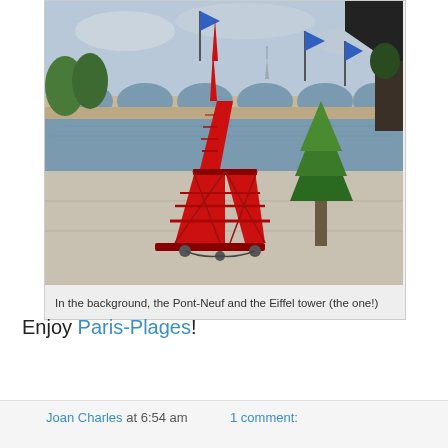[Figure (photo): A red metallic scale model of the Eiffel Tower placed near the Seine river, with the Pont-Neuf bridge visible in the background. Blue flags and a green topiary tree are also visible.]
In the background, the Pont-Neuf and the Eiffel tower (the one!)
Enjoy Paris-Plages!
Joan Charles at 6:54 am   1 comment: